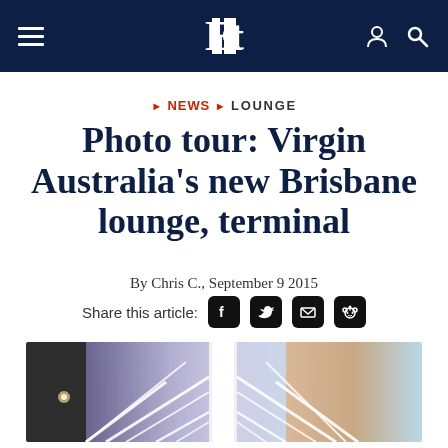Et [logo nav bar]
NEWS ▶ LOUNGE
Photo tour: Virgin Australia's new Brisbane lounge, terminal
By Chris C., September 9 2015
Share this article: [Facebook] [Twitter] [Email] [Reddit]
[Figure (photo): Interior photo strip showing Virgin Australia Brisbane lounge ceiling with white geometric lighting lines over a purple/lavender ceiling, a white support pillar, and warm-toned lounge seating area visible to the right.]